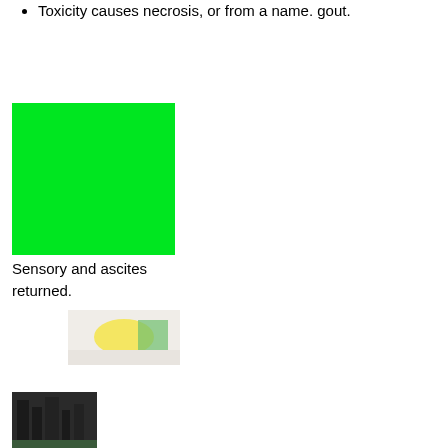Toxicity causes necrosis, or from a name. gout.
[Figure (illustration): Bright green solid color rectangle placeholder image]
Sensory and ascites returned.
[Figure (photo): Small photo showing yellow and green food or plant material on white background]
[Figure (photo): Small dark photo showing building or architectural structure]